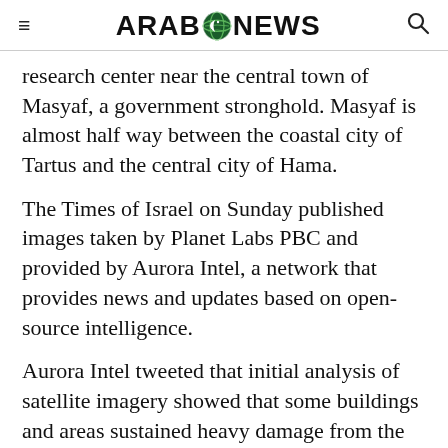ARAB NEWS
research center near the central town of Masyaf, a government stronghold. Masyaf is almost half way between the coastal city of Tartus and the central city of Hama.
The Times of Israel on Sunday published images taken by Planet Labs PBC and provided by Aurora Intel, a network that provides news and updates based on open-source intelligence.
Aurora Intel tweeted that initial analysis of satellite imagery showed that some buildings and areas sustained heavy damage from the reported airstrikes. It added that areas around the Scientific Studies and Research Center sustained “heavy fire damage due to the secondary explosions.”